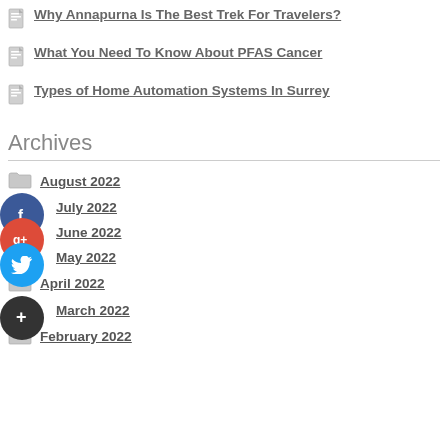Why Annapurna Is The Best Trek For Travelers?
What You Need To Know About PFAS Cancer
Types of Home Automation Systems In Surrey
Archives
August 2022
July 2022
June 2022
May 2022
April 2022
March 2022
February 2022